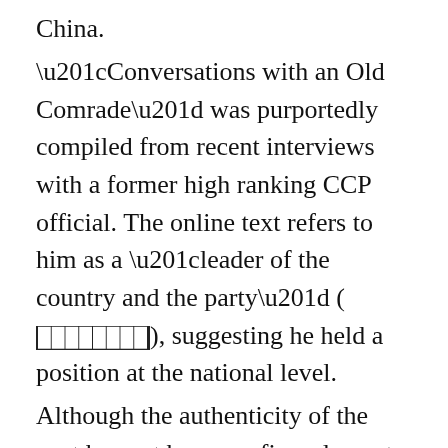China. “Conversations with an Old Comrade” was purportedly compiled from recent interviews with a former high ranking CCP official. The online text refers to him as a “leader of the country and the party” (████████), suggesting he held a position at the national level. Although the authenticity of the post has not been confirmed, most who have read it believe it was indeed sourced from a senior party member. Readers have also remarked that the post is reminiscent of “50 Years of Trials and Hardships” (████50█), an influential piece